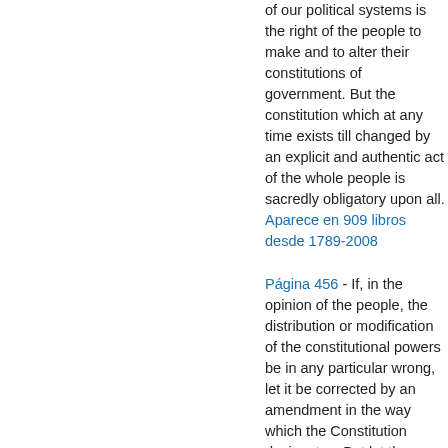of our political systems is the right of the people to make and to alter their constitutions of government. But the constitution which at any time exists till changed by an explicit and authentic act of the whole people is sacredly obligatory upon all.
Aparece en 909 libros desde 1789-2008
Página 456 - If, in the opinion of the people, the distribution or modification of the constitutional powers be in any particular wrong, let it be corrected by an amendment in the way which the Constitution designates. But let there